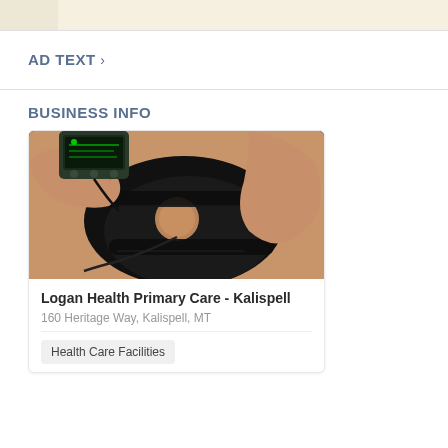[Figure (photo): Top banner strip with beige/cream background, partially visible]
AD TEXT ›
BUSINESS INFO
[Figure (photo): Photo of a person wearing a black knee brace support with an electronic TENS/EMS device being held near it]
Logan Health Primary Care - Kalispell
160 Heritage Way, Kalispell, MT
Health Care Facilities